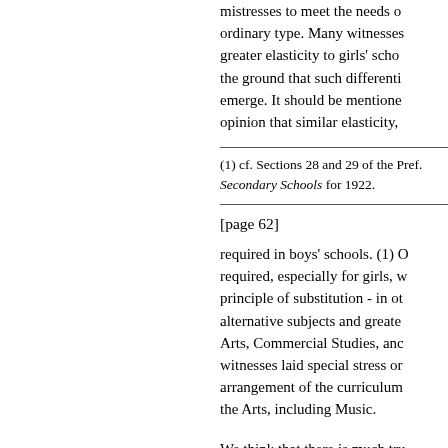mistresses to meet the needs of the ordinary type. Many witnesses desired greater elasticity to girls' schools on the ground that such differentiation will emerge. It should be mentioned that opinion that similar elasticity,
(1) cf. Sections 28 and 29 of the Pref. Secondary Schools for 1922.
[page 62]
required in boys' schools. (1) Others required, especially for girls, wider principle of substitution - in other alternative subjects and greater Arts, Commercial Studies, and witnesses laid special stress on arrangement of the curriculum the Arts, including Music.
We think that there is much tr curriculum is unduly rigid, esp recognised that many girls wil economic competition with m